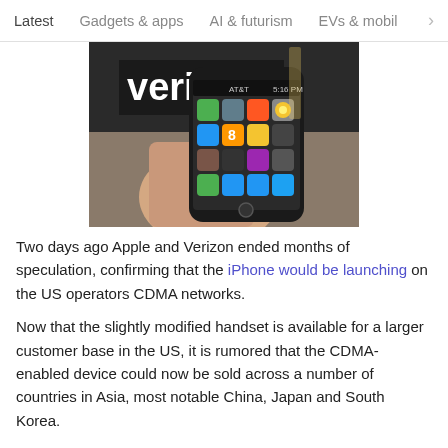Latest  Gadgets & apps  AI & futurism  EVs & mobil
[Figure (photo): A hand holding an iPhone with apps visible on screen, with a Verizon store sign blurred in the background.]
Two days ago Apple and Verizon ended months of speculation, confirming that the iPhone would be launching on the US operators CDMA networks.
Now that the slightly modified handset is available for a larger customer base in the US, it is rumored that the CDMA-enabled device could now be sold across a number of countries in Asia, most notable China, Japan and South Korea.